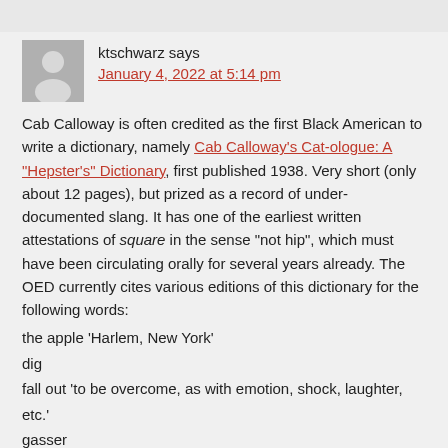ktschwarz says
January 4, 2022 at 5:14 pm
Cab Calloway is often credited as the first Black American to write a dictionary, namely Cab Calloway's Cat-ologue: A “Hepster’s” Dictionary, first published 1938. Very short (only about 12 pages), but prized as a record of under-documented slang. It has one of the earliest written attestations of square in the sense “not hip”, which must have been circulating orally for several years already. The OED currently cites various editions of this dictionary for the following words:
the apple ‘Harlem, New York’
dig
fall out ‘to be overcome, as with emotion, shock, laughter, etc.’
gasser